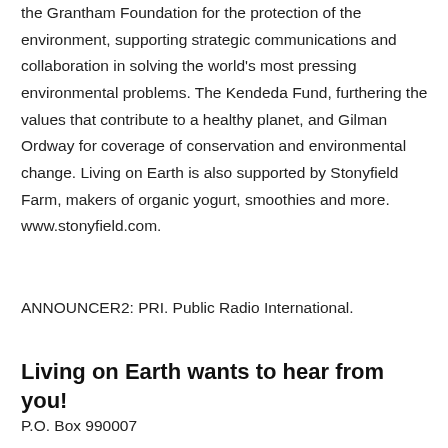the Grantham Foundation for the protection of the environment, supporting strategic communications and collaboration in solving the world's most pressing environmental problems. The Kendeda Fund, furthering the values that contribute to a healthy planet, and Gilman Ordway for coverage of conservation and environmental change. Living on Earth is also supported by Stonyfield Farm, makers of organic yogurt, smoothies and more. www.stonyfield.com.
ANNOUNCER2: PRI. Public Radio International.
Living on Earth wants to hear from you!
P.O. Box 990007